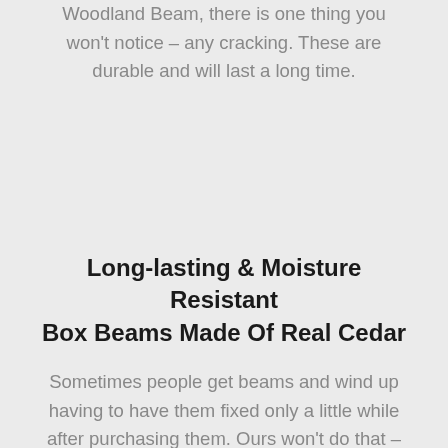Woodland Beam, there is one thing you won't notice – any cracking. These are durable and will last a long time.
Long-lasting & Moisture Resistant Box Beams Made Of Real Cedar
Sometimes people get beams and wind up having to have them fixed only a little while after purchasing them. Ours won't do that – you will love their longevity.